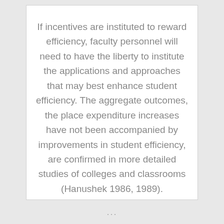If incentives are instituted to reward efficiency, faculty personnel will need to have the liberty to institute the applications and approaches that may best enhance student efficiency. The aggregate outcomes, the place expenditure increases have not been accompanied by improvements in student efficiency, are confirmed in more detailed studies of colleges and classrooms (Hanushek 1986, 1989).
...
About Education